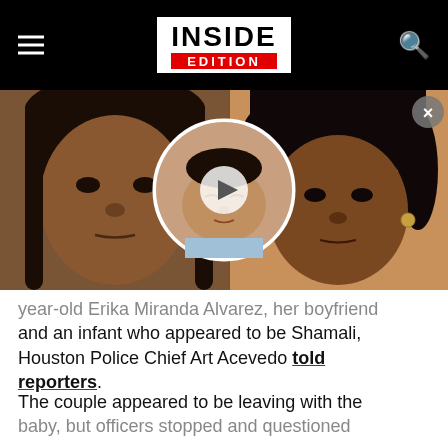Inside Edition
[Figure (photo): Two photos side by side: left shows a woman's mugshot (close-up face), right shows another woman looking at camera. A circular video thumbnail overlay in the center shows an infant, with a play button.]
year-old Erika Miranda Alvarez, her boyfriend and an infant who appeared to be Shamali, Houston Police Chief Art Acevedo told reporters.
The couple appeared to be leaving with the baby, but officers stopped and questioned